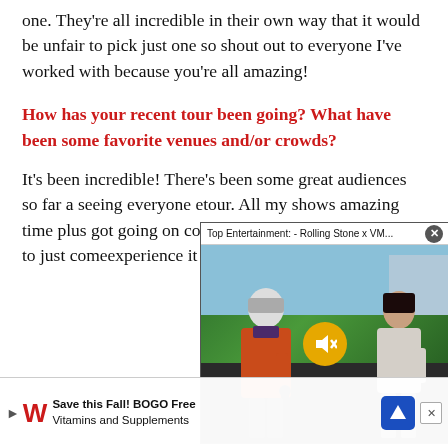one. They're all incredible in their own way that it would be unfair to pick just one so shout out to everyone I've worked with because you're all amazing!
How has your recent tour been going? What have been some favorite venues and/or crowds?
It's been incredible! There's been some great audiences so far a... seeing everyone e... tour. All my shows ... amazing time plus ... got going on contin... don't really like to t... people to just come... experience it them... desc... hey alwa... ing
[Figure (screenshot): Video overlay showing Top Entertainment: Rolling Stone x VM... with two people being interviewed on a red carpet, with a mute button visible]
[Figure (screenshot): Ad overlay: Save this Fall! BOGO Free Vitamins and Supplements - Walgreens advertisement]